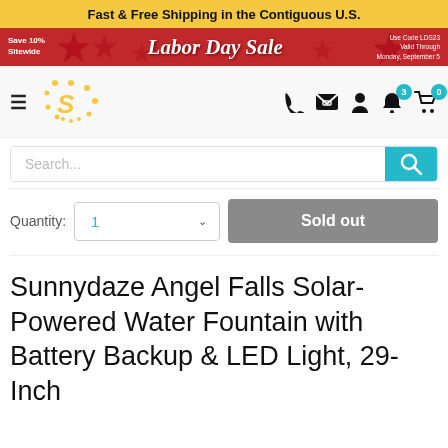Fast & Free Shipping in the Contiguous U.S.
[Figure (screenshot): Labor Day Sale promotional banner with red background, stars, 'Save 10% Sitewide' text and use code/valid date on right]
[Figure (logo): Sunnydaze Decor logo - stylized sun with letter S]
[Figure (screenshot): Navigation icons: phone, email/envelope, account/person, bell with badge 3, cart with badge 0]
Search...
Quantity: 1
Sold out
Sunnydaze Angel Falls Solar-Powered Water Fountain with Battery Backup & LED Light, 29-Inch